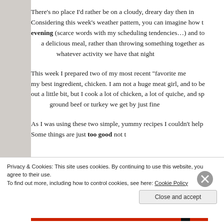There's no place I'd rather be on a cloudy, dreary day then in Considering this week's weather pattern, you can imagine how t evening (scarce words with my scheduling tendencies…) and to a delicious meal, rather than throwing something together as whatever activity we have that night
This week I prepared two of my most recent "favorite me my best ingredient, chicken. I am not a huge meat girl, and to be out a little bit, but I cook a lot of chicken, a lot of quiche, and sp ground beef or turkey we get by just fine
As I was using these two simple, yummy recipes I couldn't help Some things are just too good not t
Privacy & Cookies: This site uses cookies. By continuing to use this website, you agree to their use.
To find out more, including how to control cookies, see here: Cookie Policy
Close and accept